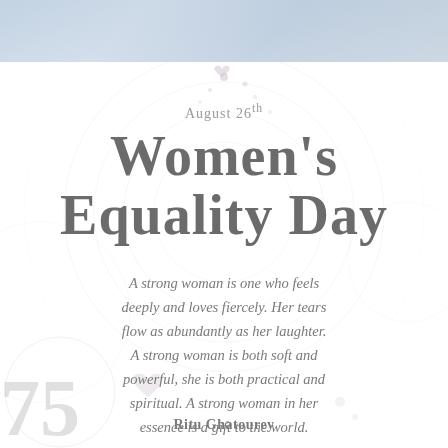[Figure (photo): Top portion of a photo showing a person in light-colored clothing, cropped to show shoulder/chest area with soft blue-grey tones]
August 26th
Women's Equality Day
A strong woman is one who feels deeply and loves fiercely. Her tears flow as abundantly as her laughter. A strong woman is both soft and powerful, she is both practical and spiritual. A strong woman in her essence is a gift to the world.
Ritu Ghatourey